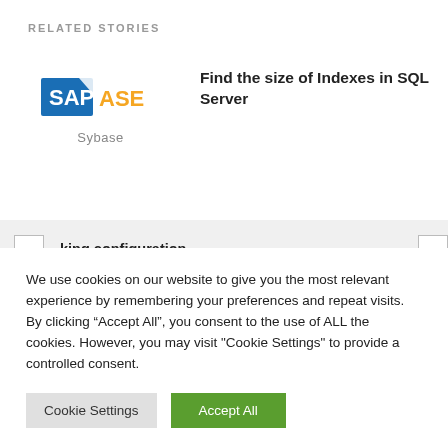RELATED STORIES
[Figure (logo): SAP ASE Sybase logo]
Find the size of Indexes in SQL Server
king configuration ges in SAP ASE
We use cookies on our website to give you the most relevant experience by remembering your preferences and repeat visits. By clicking “Accept All”, you consent to the use of ALL the cookies. However, you may visit "Cookie Settings" to provide a controlled consent.